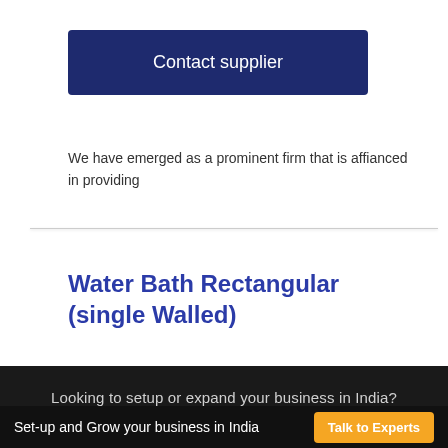Contact supplier
We have emerged as a prominent firm that is affianced in providing
Water Bath Rectangular (single Walled)
Looking to setup or expand your business in India? Set-up and Grow your business in India Talk to Experts